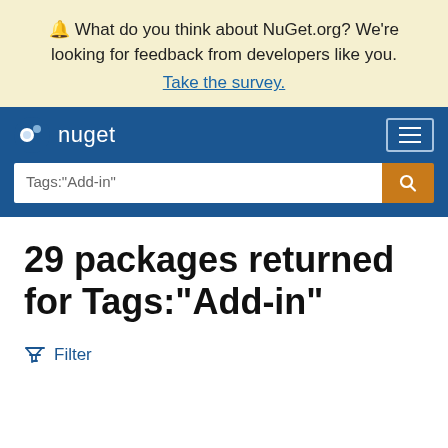🔔 What do you think about NuGet.org? We're looking for feedback from developers like you. Take the survey.
[Figure (screenshot): NuGet navigation bar with logo and hamburger menu, and search box with Tags:"Add-in" query]
29 packages returned for Tags:"Add-in"
Filter